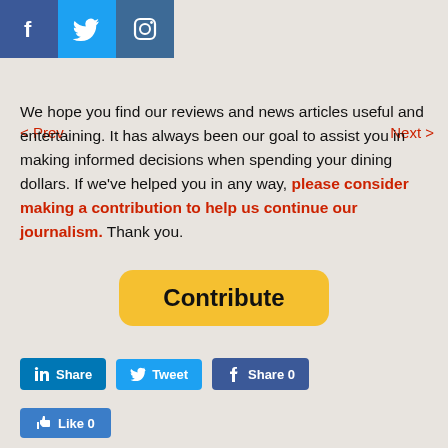[Figure (other): Social media icon bar with Facebook, Twitter, and Instagram icons]
< Prev    Next >
We hope you find our reviews and news articles useful and entertaining. It has always been our goal to assist you in making informed decisions when spending your dining dollars. If we've helped you in any way, please consider making a contribution to help us continue our journalism. Thank you.
[Figure (other): Yellow rounded Contribute button]
[Figure (other): Social share buttons row: LinkedIn Share, Tweet, Facebook Share 0]
[Figure (other): Facebook Like 0 button]